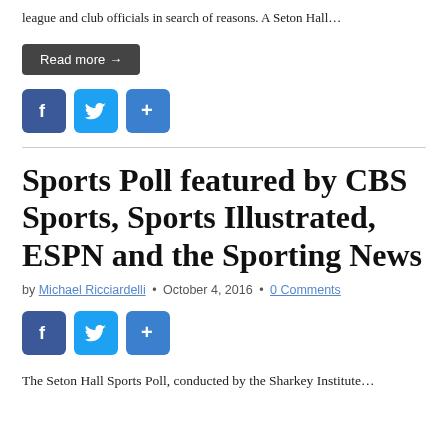league and club officials in search of reasons. A Seton Hall…
Read more →
[Figure (other): Social sharing icons: Facebook, Twitter, Share]
Sports Poll featured by CBS Sports, Sports Illustrated, ESPN and the Sporting News
by Michael Ricciardelli • October 4, 2016 • 0 Comments
[Figure (other): Social sharing icons: Facebook, Twitter, Share]
The Seton Hall Sports Poll, conducted by the Sharkey Institute…